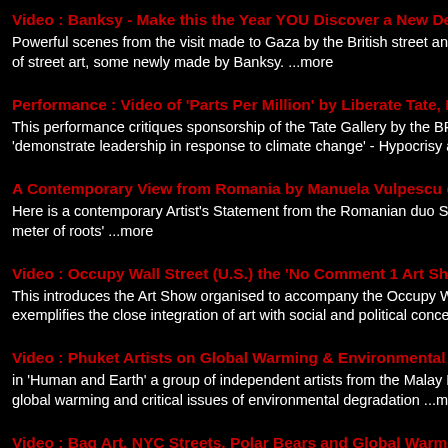Video : Banksy - Make this the Year YOU Discover a New De
Powerful scenes from the visit made to Gaza by the British street and of street art, some newly made by Banksy. ...more
Performance : Video of 'Parts Per Million' by Liberate Tate, L
This performance critiques sponsorship of the Tate Gallery by the BP 'demonstrate leadership in response to climate change' - Hypocrisy ar
A Contemporary View from Romania by Manuela Vulpescu c
Here is a contemporary Artist's Statement from the Romanian duo SW meter of roots' ...more
Video : Occupy Wall Street (U.S.) the 'No Comment 1 Art Sho
This introduces the Art Show organised to accompany the Occupy Wa exemplifies the close integration of art with social and political concern
Video : Phuket Artists on Global Warming & Environmental I
in 'Human and Earth' a group of independent artists from the Malay Pe global warming and critical issues of environmental degradation ...mo
Video : Bag Art, NYC Streets, Polar Bears and Global Warmi (U.S.A.)